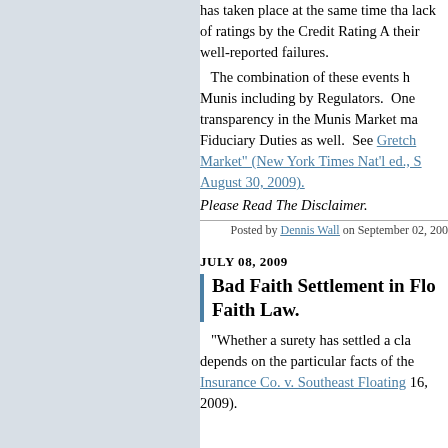has taken place at the same time that lack of ratings by the Credit Rating A... their well-reported failures.
The combination of these events h Munis including by Regulators. One transparency in the Munis Market ma Fiduciary Duties as well. See Gretch Market" (New York Times Nat'l ed., S August 30, 2009).
Please Read The Disclaimer.
Posted by Dennis Wall on September 02, 200...
JULY 08, 2009
Bad Faith Settlement in Flo Faith Law.
"Whether a surety has settled a cla depends on the particular facts of the Insurance Co. v. Southeast Floating ... 16, 2009).